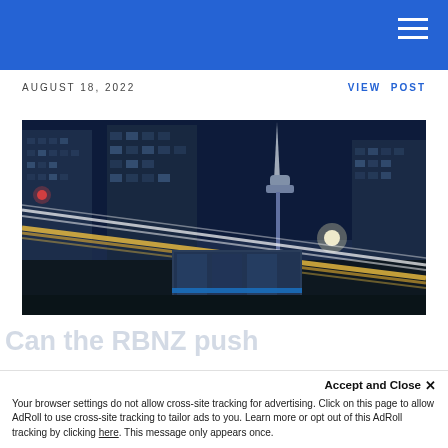AUGUST 18, 2022
VIEW POST
[Figure (photo): Night cityscape with light trails from traffic, tall tower/spire visible against dark blue sky, modern glass skyscrapers in background — Auckland city skyline at night with long exposure photography]
Can the RBNZ push
Accept and Close ✕
Your browser settings do not allow cross-site tracking for advertising. Click on this page to allow AdRoll to use cross-site tracking to tailor ads to you. Learn more or opt out of this AdRoll tracking by clicking here. This message only appears once.